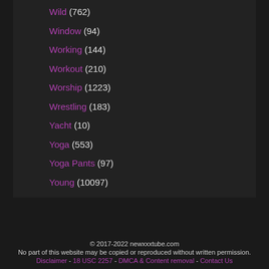Wild (762)
Window (94)
Working (144)
Workout (210)
Worship (1223)
Wrestling (183)
Yacht (10)
Yoga (553)
Yoga Pants (97)
Young (10097)
© 2017-2022 newxxxtube.com
No part of this website may be copied or reproduced without written permission.
Disclaimer - 18 USC 2257 - DMCA & Content removal - Contact Us